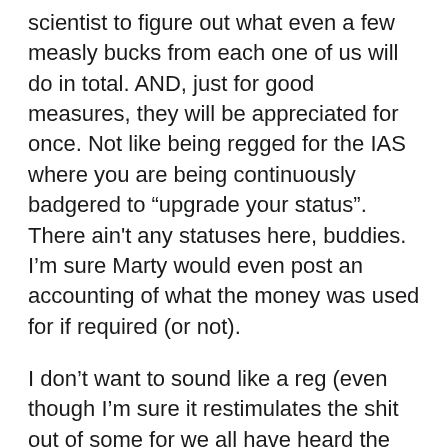scientist to figure out what even a few measly bucks from each one of us will do in total. AND, just for good measures, they will be appreciated for once. Not like being regged for the IAS where you are being continuously badgered to “upgrade your status”. There ain't any statuses here, buddies. I’m sure Marty would even post an accounting of what the money was used for if required (or not).
I don’t want to sound like a reg (even though I’m sure it restimulates the shit out of some for we all have heard the battle cry to “contribute to the cause” to only find out later that our “Patron” donations might have ended up paying PI’s to dirtily attack those that have left the church a